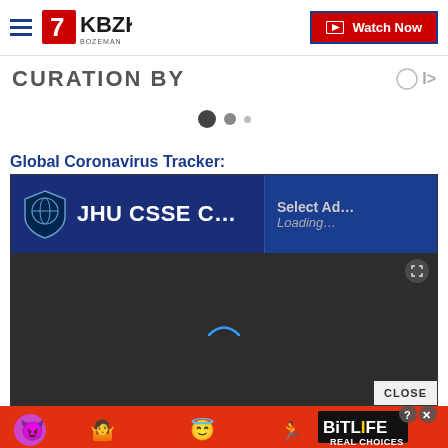KBZK BOZEMAN — Watch Now
CURATION BY
[Figure (screenshot): Pagination dots: large filled dot, medium dot, small dot]
Global Coronavirus Tracker:
[Figure (screenshot): Embedded JHU CSSE Coronavirus tracker widget loading. Shows JHU CSSE C... title with shield logo on dark blue background. Right panel shows 'Select Ad... Loading...'. Below is a dark map area with a loading spinner arc. Expand icon in top right corner. Close button in bottom right.]
[Figure (screenshot): BitLife advertisement banner at bottom: red background with emoji characters (devil, woman shrugging, angel, and sperm), BitLife logo, REAL CHOICES text, close/question mark buttons]